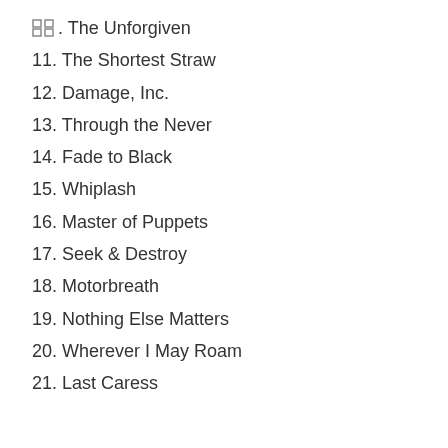⊞. The Unforgiven
11. The Shortest Straw
12. Damage, Inc.
13. Through the Never
14. Fade to Black
15. Whiplash
16. Master of Puppets
17. Seek & Destroy
18. Motorbreath
19. Nothing Else Matters
20. Wherever I May Roam
21. Last Caress